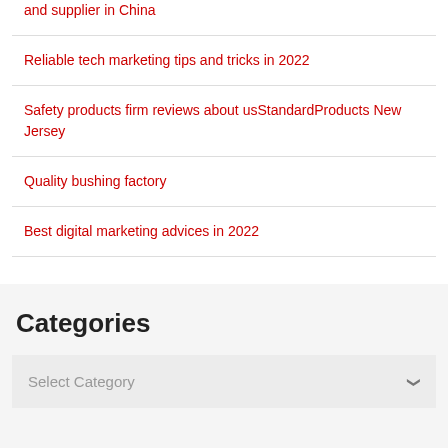and supplier in China
Reliable tech marketing tips and tricks in 2022
Safety products firm reviews about usStandardProducts New Jersey
Quality bushing factory
Best digital marketing advices in 2022
Categories
Select Category